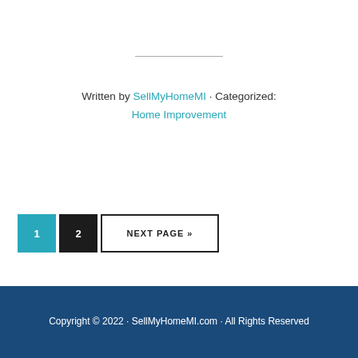Written by SellMyHomeMI · Categorized: Home Improvement
1
2
NEXT PAGE »
Copyright © 2022 · SellMyHomeMI.com · All Rights Reserved